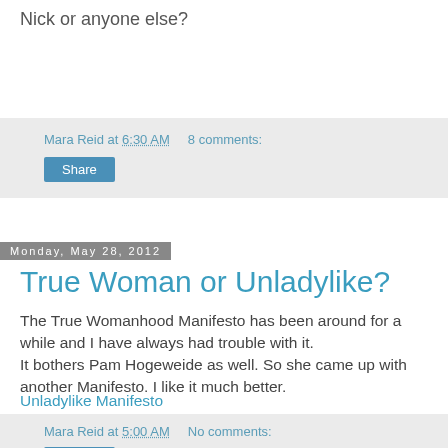Nick or anyone else?
Mara Reid at 6:30 AM    8 comments:
Share
Monday, May 28, 2012
True Woman or Unladylike?
The True Womanhood Manifesto has been around for a while and I have always had trouble with it.
It bothers Pam Hogeweide as well. So she came up with another Manifesto. I like it much better.
Unladylike Manifesto
Mara Reid at 5:00 AM    No comments:
Share